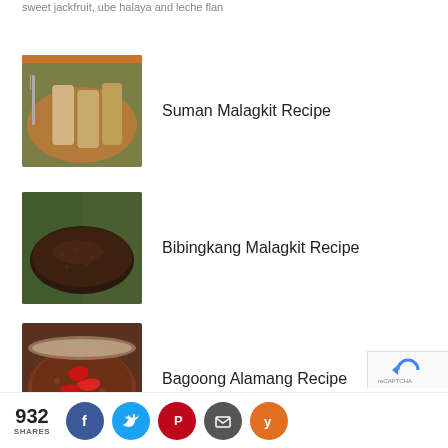sweet jackfruit, ube halaya and leche flan
[Figure (photo): Suman Malagkit - sticky rice wrapped in banana leaves]
Suman Malagkit Recipe
[Figure (photo): Bibingkang Malagkit - dark sticky rice cake]
Bibingkang Malagkit Recipe
[Figure (photo): Bagoong Alamang - shrimp paste with red chili peppers]
Bagoong Alamang Recipe
932 SHARES
[Figure (infographic): Social sharing bar with Facebook, Twitter, Pinterest, Email, and Yummly icons]